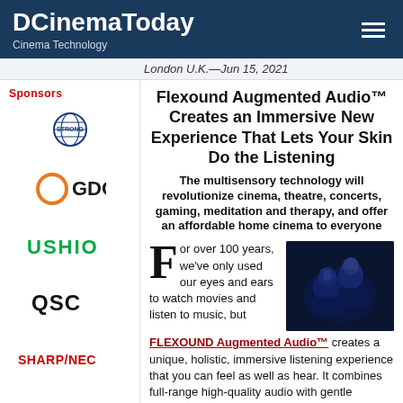DCinemaToday
Cinema Technology
London U.K.—Jun 15, 2021
Flexound Augmented Audio™ Creates an Immersive New Experience That Lets Your Skin Do the Listening
The multisensory technology will revolutionize cinema, theatre, concerts, gaming, meditation and therapy, and offer an affordable home cinema to everyone
[Figure (logo): STRONG logo - globe with text]
[Figure (logo): GDC logo - orange circle with GDC text]
[Figure (logo): USHIO logo - green text]
[Figure (logo): QSC logo - black text]
[Figure (logo): SHARP/NEC logo - red text]
For over 100 years, we've only used our eyes and ears to watch movies and listen to music, but FLEXOUND Augmented Audio™ creates a unique, holistic, immersive listening experience that you can feel as well as hear. It combines full-range high-quality audio with gentle physical sound wave vibration, to add the sensation of touch to any
[Figure (photo): Two people sitting in cinema seats in dark blue lighting, viewed from behind]